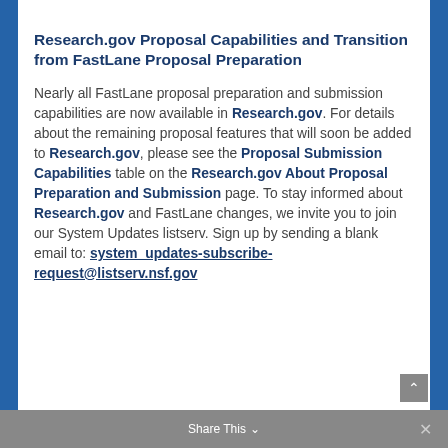Research.gov Proposal Capabilities and Transition from FastLane Proposal Preparation
Nearly all FastLane proposal preparation and submission capabilities are now available in Research.gov. For details about the remaining proposal features that will soon be added to Research.gov, please see the Proposal Submission Capabilities table on the Research.gov About Proposal Preparation and Submission page. To stay informed about Research.gov and FastLane changes, we invite you to join our System Updates listserv. Sign up by sending a blank email to: system_updates-subscribe-request@listserv.nsf.gov